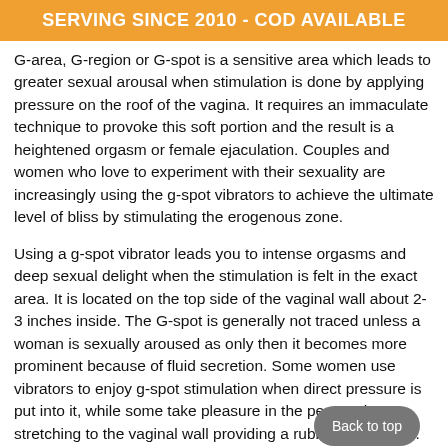SERVING SINCE 2010 - COD AVAILABLE
G-area, G-region or G-spot is a sensitive area which leads to greater sexual arousal when stimulation is done by applying pressure on the roof of the vagina. It requires an immaculate technique to provoke this soft portion and the result is a heightened orgasm or female ejaculation. Couples and women who love to experiment with their sexuality are increasingly using the g-spot vibrators to achieve the ultimate level of bliss by stimulating the erogenous zone.
Using a g-spot vibrator leads you to intense orgasms and deep sexual delight when the stimulation is felt in the exact area. It is located on the top side of the vaginal wall about 2-3 inches inside. The G-spot is generally not traced unless a woman is sexually aroused as only then it becomes more prominent because of fluid secretion. Some women use vibrators to enjoy g-spot stimulation when direct pressure is put into it, while some take pleasure in the penetration stretching to the vaginal wall providing a rubbing sensation. Like males have prostates, females have a g-spot that can ejaculate during an orgasm and may even spurt out.
Women who understand the importance of sexual pleasure and how helpful it is for the physical and mental well-being are using various